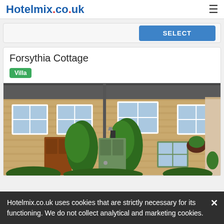Hotelmix.co.uk
SELECT
Forsythia Cottage
Villa
[Figure (photo): Exterior of a traditional English stone cottage with yellow/sandstone brick walls, white-framed windows, green hedges and topiary flanking a green front door, with a wooden door to the left side]
Hotelmix.co.uk uses cookies that are strictly necessary for its functioning. We do not collect analytical and marketing cookies.